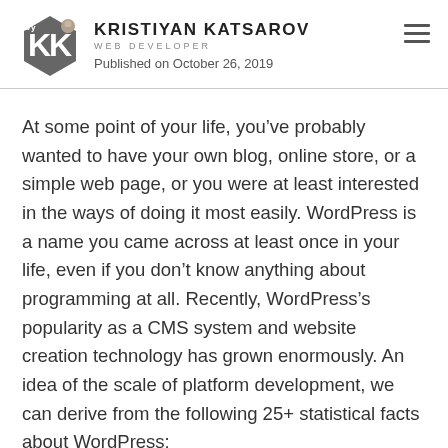KRISTIYAN KATSAROV WEB DEVELOPER
Published on October 26, 2019
At some point of your life, you’ve probably wanted to have your own blog, online store, or a simple web page, or you were at least interested in the ways of doing it most easily. WordPress is a name you came across at least once in your life, even if you don’t know anything about programming at all. Recently, WordPress’s popularity as a CMS system and website creation technology has grown enormously. An idea of the scale of platform development, we can derive from the following 25+ statistical facts about WordPress: